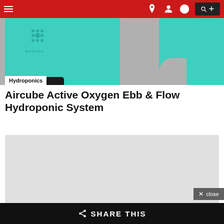Navigation bar with hamburger menu, icons, and search box
[Figure (photo): Teal AirCube hydroponic system units against grey background, showing cube-shaped containers with AirCube logo]
Hydroponics
Aircube Active Oxygen Ebb & Flow Hydroponic System
[Figure (other): Grey advertisement placeholder rectangle]
SHARE THIS